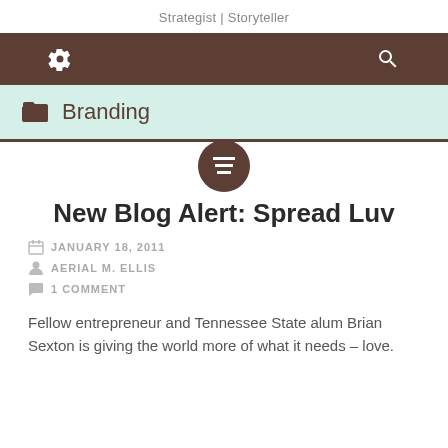Strategist | Storyteller
[Figure (screenshot): Navigation bar with gear/settings icon on left and search icon on right, dark brown background]
Branding
[Figure (other): Dark brown circle with menu/list icon centered below category bar]
New Blog Alert: Spread Luv
JANUARY 18, 2011
AERIAL M. ELLIS
1 COMMENT
Fellow entrepreneur and Tennessee State alum Brian Sexton is giving the world more of what it needs – love.